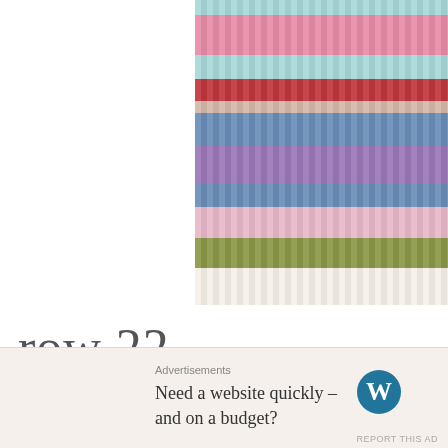[Figure (photo): Close-up photograph of colorful striped crochet work showing multiple rows in teal, pink, red, beige, blue, purple, light pink, and olive green yarn colors with textured stitch patterns]
row 22
With new color, dc across.
Advertisements
Need a website quickly – and on a budget?